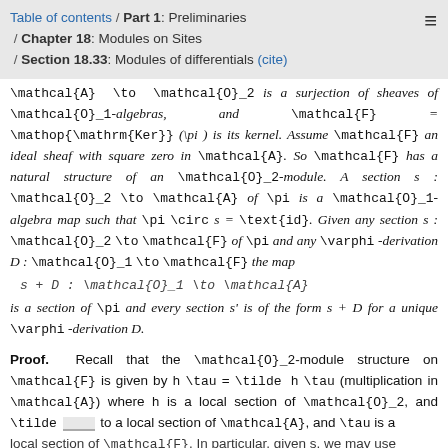Table of contents / Part 1: Preliminaries / Chapter 18: Modules on Sites / Section 18.33: Modules of differentials (cite)
\mathcal{A} \to \mathcal{O}_2 is a surjection of sheaves of \mathcal{O}_1-algebras, and \mathcal{F} = \mathop{\mathrm{Ker}}(\pi ) is its kernel. Assume \mathcal{F} an ideal sheaf with square zero in \mathcal{A}. So \mathcal{F} has a natural structure of an \mathcal{O}_2-module. A section s : \mathcal{O}_2 \to \mathcal{A} of \pi is a \mathcal{O}_1-algebra map such that \pi \circ s = \text{id}. Given any section s : \mathcal{O}_2 \to \mathcal{F} of \pi and any \varphi -derivation D : \mathcal{O}_1 \to \mathcal{F} the map
is a section of \pi and every section s' is of the form s + D for a unique \varphi -derivation D.
Proof. Recall that the \mathcal{O}_2-module structure on \mathcal{F} is given by h \tau = \tilde h \tau (multiplication in \mathcal{A}) where h is a local section of \mathcal{O}_2, and \tilde h to a local section of \mathcal{A}, and \tau is a local section of \mathcal{F}. In particular, given s, we may use
Typesetting math: 31%